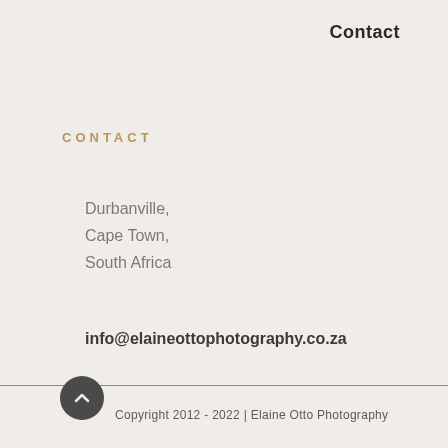Contact
CONTACT
Durbanville,
Cape Town,
South Africa
info@elaineottophotography.co.za
Copyright 2012 - 2022 | Elaine Otto Photography